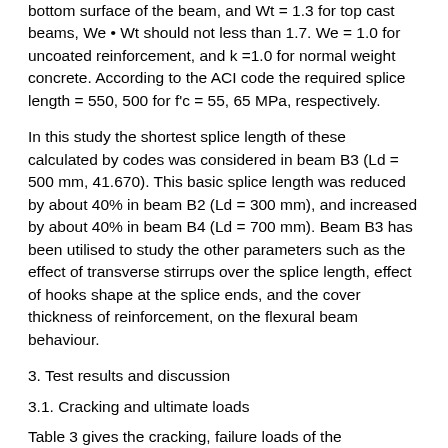bottom surface of the beam, and Wt = 1.3 for top cast beams, We • Wt should not less than 1.7. We = 1.0 for uncoated reinforcement, and k =1.0 for normal weight concrete. According to the ACI code the required splice length = 550, 500 for f'c = 55, 65 MPa, respectively.
In this study the shortest splice length of these calculated by codes was considered in beam B3 (Ld = 500 mm, 41.670). This basic splice length was reduced by about 40% in beam B2 (Ld = 300 mm), and increased by about 40% in beam B4 (Ld = 700 mm). Beam B3 has been utilised to study the other parameters such as the effect of transverse stirrups over the splice length, effect of hooks shape at the splice ends, and the cover thickness of reinforcement, on the flexural beam behaviour.
3. Test results and discussion
3.1. Cracking and ultimate loads
Table 3 gives the cracking, failure loads of the investigated beams. Regarding to the effect of splice length, the cracking